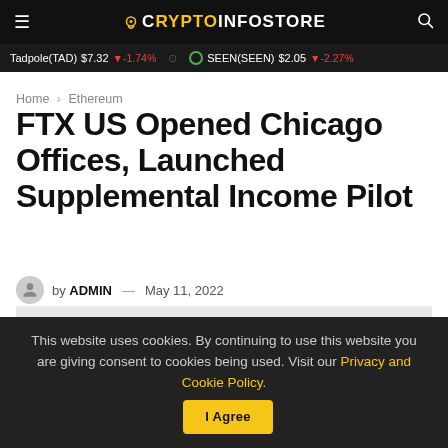CRYPTOINFOSTORE
Tadpole(TAD) $7.32 ↓-1.74%  SEEN(SEEN) $2.05 ↓-2.27%
Home > Ethereum
FTX US Opened Chicago Offices, Launched Supplemental Income Pilot
by ADMIN — May 11, 2022
[Figure (photo): Article featured image placeholder, light gray background with blurred overlay text]
This website uses cookies. By continuing to use this website you are giving consent to cookies being used. Visit our Privacy and Cookie Policy. I Agree